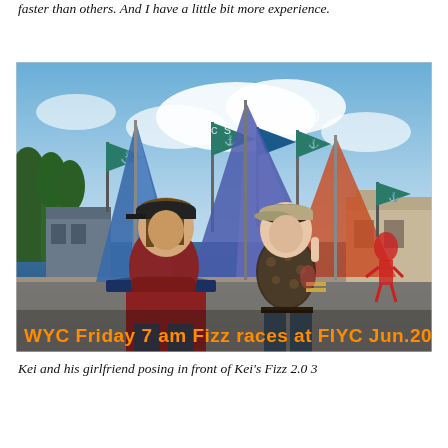faster than others. And I have a little bit more experience.
[Figure (photo): Screenshot from a virtual world / sailing game showing two avatars (a male in a dark red shirt and cap, a female in leopard print top and cap) standing on a dock in front of sailboats and flags. Orange text overlay reads: WYC Friday 7 am Fizz races at FIYC Jun.20]
Kei and his girlfriend posing in front of Kei's Fizz 2.0 3